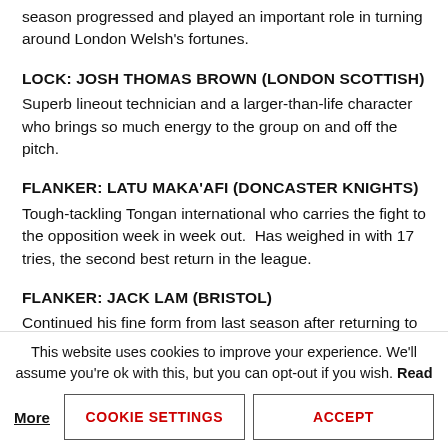season progressed and played an important role in turning around London Welsh's fortunes.
LOCK: JOSH THOMAS BROWN (LONDON SCOTTISH)
Superb lineout technician and a larger-than-life character who brings so much energy to the group on and off the pitch.
FLANKER: LATU MAKA'AFI (DONCASTER KNIGHTS)
Tough-tackling Tongan international who carries the fight to the opposition week in week out.  Has weighed in with 17 tries, the second best return in the league.
FLANKER: JACK LAM (BRISTOL)
Continued his fine form from last season after returning to the club from World Cup duty with Samoa. A superb
This website uses cookies to improve your experience. We'll assume you're ok with this, but you can opt-out if you wish. Read More
COOKIE SETTINGS
ACCEPT